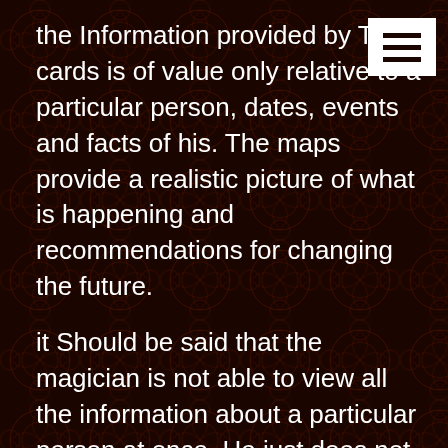the Information provided by Tarot cards is of value only relative to a particular person, dates, events and facts of his. The maps provide a realistic picture of what is happening and recommendations for changing the future.
it Should be said that the magician is not able to view all the information about a particular person at once. He just does not have enough time to describe all the events of his life, as well as personality traits, abilities, shortcomings, etc. Layouts are made to answer the question of a specific problem.